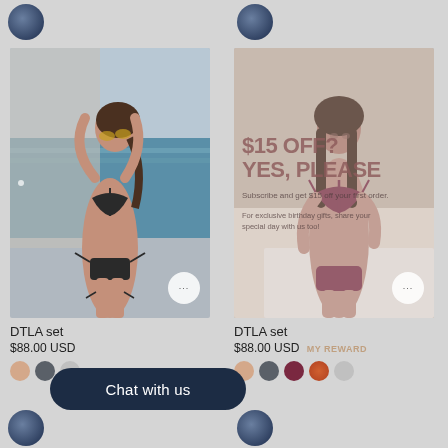[Figure (photo): Model wearing black strappy bikini set at beach]
[Figure (photo): Model wearing dark red/wine bikini set with promotional overlay showing $15 OFF? YES, PLEASE discount offer]
DTLA set
$88.00 USD
DTLA set
$88.00 USD MY REWARD
Chat with us